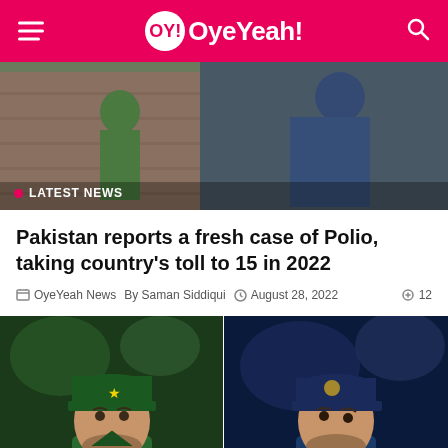OY! OyeYeah!
[Figure (photo): Hero image showing people in outdoor setting with brick wall, related to Polio vaccination campaign, with 'LATEST NEWS' badge overlay]
Pakistan reports a fresh case of Polio, taking country's toll to 15 in 2022
OyeYeah News  By Saman Siddiqui  August 28, 2022  12
[Figure (photo): Side-by-side photo of two cricket players: left side shows player in green Pakistan cap and jersey, right side shows player in navy blue India cap with MPL jersey]